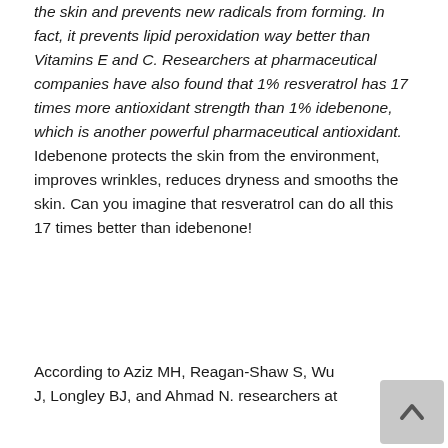the skin and prevents new radicals from forming. In fact, it prevents lipid peroxidation way better than Vitamins E and C. Researchers at pharmaceutical companies have also found that 1% resveratrol has 17 times more antioxidant strength than 1% idebenone, which is another powerful pharmaceutical antioxidant. Idebenone protects the skin from the environment, improves wrinkles, reduces dryness and smooths the skin. Can you imagine that resveratrol can do all this 17 times better than idebenone!
According to Aziz MH, Reagan-Shaw S, Wu J, Longley BJ, and Ahmad N. researchers at